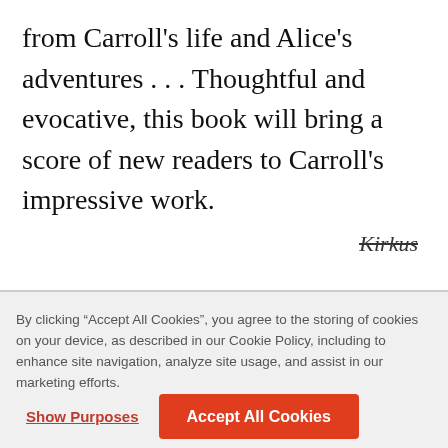from Carroll's life and Alice's adventures . . . Thoughtful and evocative, this book will bring a score of new readers to Carroll's impressive work.
Kirkus
By clicking “Accept All Cookies”, you agree to the storing of cookies on your device, as described in our Cookie Policy, including to enhance site navigation, analyze site usage, and assist in our marketing efforts.
Show Purposes
Accept All Cookies